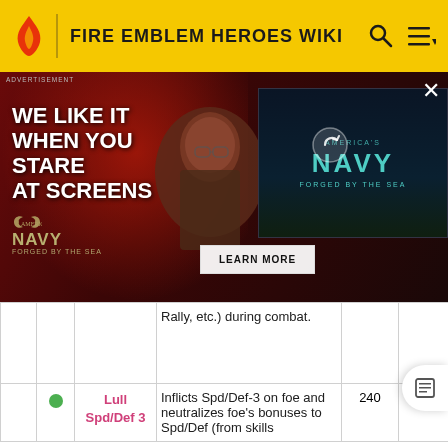FIRE EMBLEM HEROES WIKI
[Figure (screenshot): Advertisement banner for America's Navy 'Forged by the Sea' campaign with text 'WE LIKE IT WHEN YOU STARE AT SCREENS' overlaid on a photo of a woman with glasses in red lighting, and a video thumbnail of the Navy logo on the right. A 'LEARN MORE' button and an X close button are visible.]
|  |  | Name | Description | SP | ★ |
| --- | --- | --- | --- | --- | --- |
|  |  |  | Rally, etc.) during combat. |  |  |
|  | ● | Lull Spd/Def 3 | Inflicts Spd/Def-3 on foe and neutralizes foe's bonuses to Spd/Def (from skills | 240 | 5 |